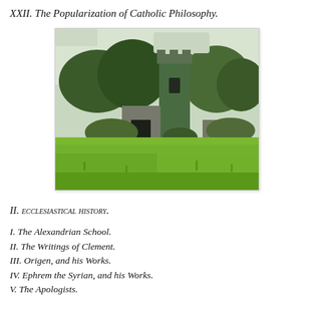XXII. The Popularization of Catholic Philosophy.
[Figure (photo): Outdoor photograph of an old stone church tower covered in ivy/vines, surrounded by trees and lush green grass field in the foreground.]
II. Ecclesiastical History.
I. The Alexandrian School.
II. The Writings of Clement.
III. Origen, and his Works.
IV. Ephrem the Syrian, and his Works.
V. The Apologists.